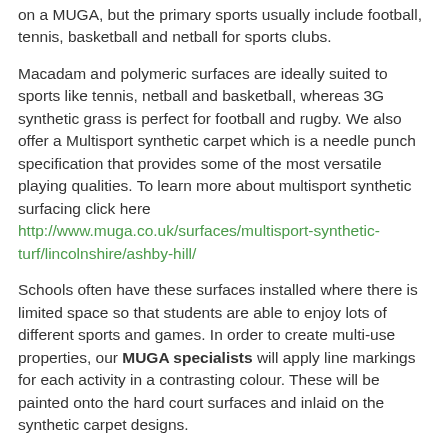on a MUGA, but the primary sports usually include football, tennis, basketball and netball for sports clubs.
Macadam and polymeric surfaces are ideally suited to sports like tennis, netball and basketball, whereas 3G synthetic grass is perfect for football and rugby. We also offer a Multisport synthetic carpet which is a needle punch specification that provides some of the most versatile playing qualities. To learn more about multisport synthetic surfacing click here http://www.muga.co.uk/surfaces/multisport-synthetic-turf/lincolnshire/ashby-hill/
Schools often have these surfaces installed where there is limited space so that students are able to enjoy lots of different sports and games. In order to create multi-use properties, our MUGA specialists will apply line markings for each activity in a contrasting colour. These will be painted onto the hard court surfaces and inlaid on the synthetic carpet designs.
How Much Does a MUGA Pitch Cost?
As experienced MUGA specialists, we would be happy to discuss